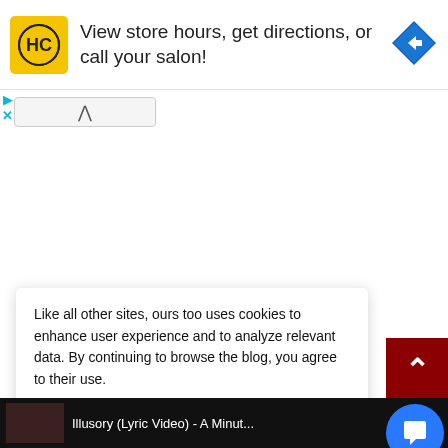[Figure (screenshot): Advertisement banner for a hair salon (HC logo) with text 'View store hours, get directions, or call your salon!' and a blue navigation diamond icon on the right]
[Figure (screenshot): Collapse/accordion bar with an upward chevron arrow]
Like all other sites, ours too uses cookies to enhance user experience and to analyze relevant data. By continuing to browse the blog, you agree to their use.
[Figure (screenshot): Cookie consent box with 'Cookie Settings' and 'Accept All' buttons]
[Figure (screenshot): Bottom partial video bar showing 'Illusory (Lyric Video) - A Minut...' with menu icons]